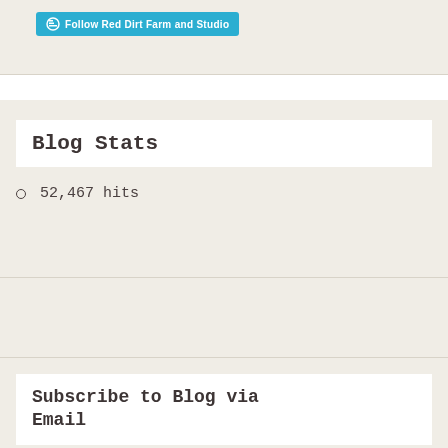[Figure (other): WordPress Follow button: 'Follow Red Dirt Farm and Studio' in teal/cyan with WordPress logo icon]
Blog Stats
52,467 hits
Subscribe to Blog via Email
Enter your email address to subscribe to this blog and receive notifications of